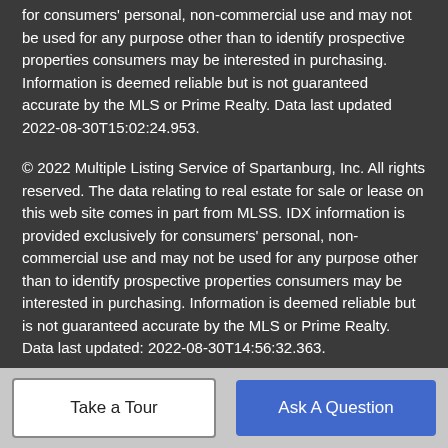for consumers' personal, non-commercial use and may not be used for any purpose other than to identify prospective properties consumers may be interested in purchasing. Information is deemed reliable but is not guaranteed accurate by the MLS or Prime Realty. Data last updated 2022-08-30T15:02:24.953.
© 2022 Multiple Listing Service of Spartanburg, Inc. All rights reserved. The data relating to real estate for sale or lease on this web site comes in part from MLSS. IDX information is provided exclusively for consumers' personal, non-commercial use and may not be used for any purpose other than to identify prospective properties consumers may be interested in purchasing. Information is deemed reliable but is not guaranteed accurate by the MLS or Prime Realty. Data last updated: 2022-08-30T14:56:32.363.
© 2022 Western Upstate Multiple Listing Service, Inc. All rights reserved. This information is deemed reliable, but not guaranteed. Neither the Western Upstate Association of REALTORS®, Inc. or ...
Take a Tour | Ask A Question